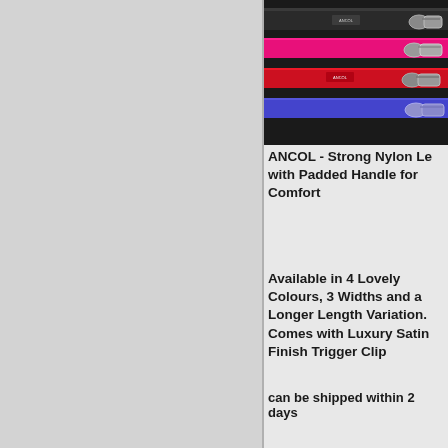[Figure (photo): Photo of colorful nylon dog leashes in black, red/pink, and blue/purple colors with satin finish trigger clips, arranged on a dark background]
ANCOL - Strong Nylon Lead with Padded Handle for Comfort
Available in 4 Lovely Colours, 3 Widths and a Longer Length Variation. Comes with Luxury Satin Finish Trigger Clip
can be shipped within 2 days